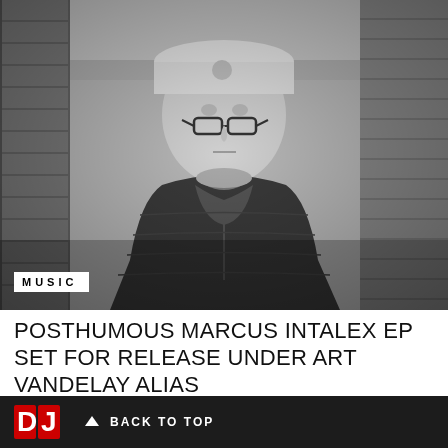[Figure (photo): Black and white photograph of a man wearing a white cap and glasses, dressed in a dark puffer jacket, standing in an urban setting with brick walls in the background. Shot from a slightly elevated angle.]
MUSIC
POSTHUMOUS MARCUS INTALEX EP SET FOR RELEASE UNDER ART VANDELAY ALIAS
BACK TO TOP